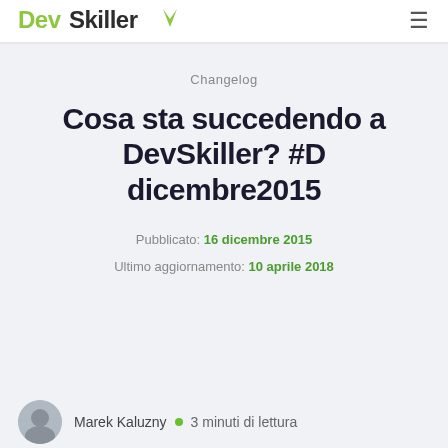DevSkiller
Changelog
Cosa sta succedendo a DevSkiller? #D dicembre2015
Pubblicato: 16 dicembre 2015
Ultimo aggiornamento: 10 aprile 2018
Marek Kaluzny · 3 minuti di lettura